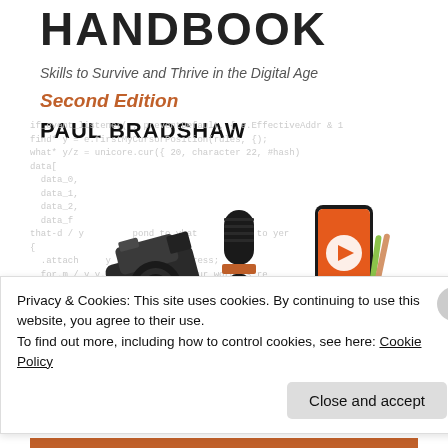HANDBOOK
Skills to Survive and Thrive in the Digital Age
Second Edition
PAUL BRADSHAW
[Figure (illustration): Illustration of journalism tools: a camera, a microphone with orange band, and a hand holding a smartphone showing a video/play icon, with faded code text in background]
Privacy & Cookies: This site uses cookies. By continuing to use this website, you agree to their use.
To find out more, including how to control cookies, see here: Cookie Policy
Close and accept